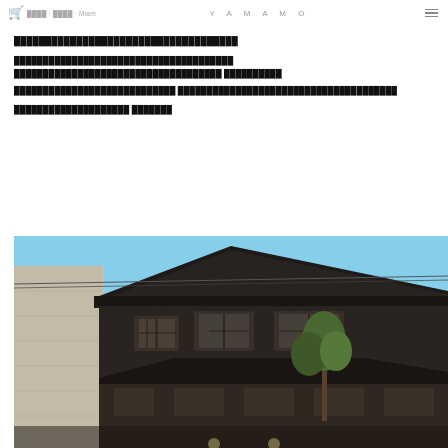YAMAMO
████████████████████████████████████
██████████████████████████████████████ ████████████████████████████████████ ██████████
████████████████████████████ ██████████████████████████████████████
████████████████████ ███████
[Figure (photo): Exterior photograph of a traditional Japanese building with dark wooden facade, tiled roof, and a modern concrete structure on the left side. Trees are visible in the foreground against a blue sky.]